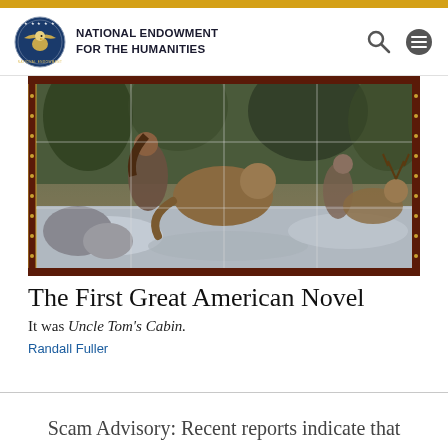NATIONAL ENDOWMENT FOR THE HUMANITIES
[Figure (illustration): Dramatic painting showing figures and animals (possibly dogs or large cats) in a wilderness/river scene, divided into a grid of panels with decorative border.]
The First Great American Novel
It was Uncle Tom's Cabin.
Randall Fuller
Scam Advisory: Recent reports indicate that